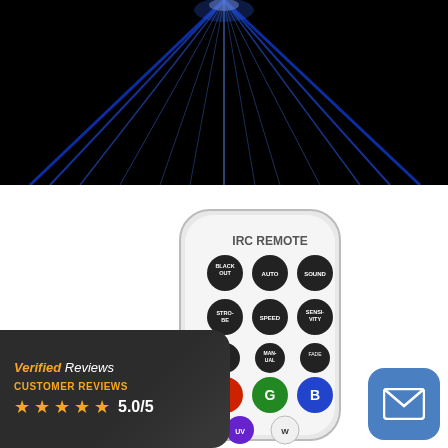[Figure (photo): Dark background with blue laser light beams spreading outward from center top]
[Figure (photo): IRC Remote control - white remote with black rounded buttons including BLACKOUT, AUTO, SOUND, STROBE, SPEED, SENSI-VITY, R (red), G (green), B (blue), UV, W, 0, and minus buttons]
[Figure (infographic): Verified Reviews badge with 5 orange stars and rating 5.0/5, CUSTOMER REVIEWS label, dark background]
[Figure (infographic): Blue rounded square mail/envelope icon button]